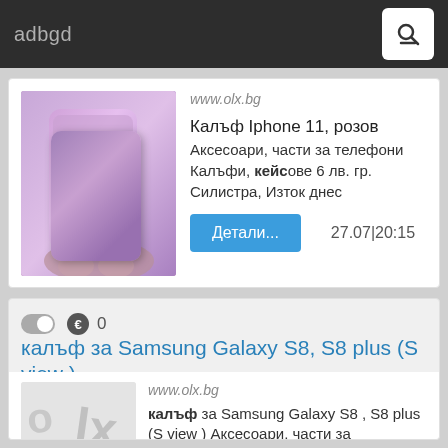adbgd
www.olx.bg
Калъф Iphone 11, розов
Аксесоари, части за телефони
Калъфи, кейсове 6 лв. гр. Силистра, Изток днес
Детали...
27.07|20:15
калъф за Samsung Galaxy S8, S8 plus (S view )
[Figure (photo): OLX placeholder watermark image for second listing]
www.olx.bg
калъф за Samsung Galaxy S8, S8 plus (S view) Аксесоари, части за